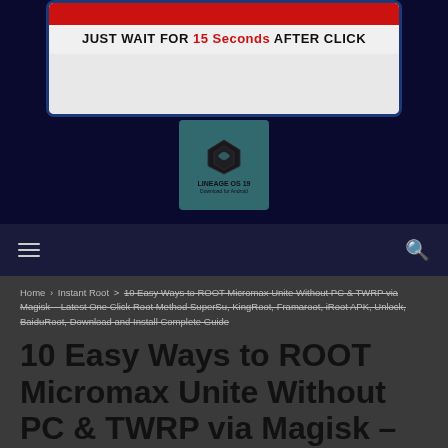[Figure (screenshot): Dark navy blue background with a download ad box showing a red button bar and text 'JUST WAIT FOR 15 Seconds AFTER CLICK', and a LineageOS logo overlay below]
[Figure (screenshot): Dark navy navigation bar with hamburger menu icon on the left and search icon on the right]
Home > Instant Root > 10 Easy Ways to ROOT Micromax Unite Without PC & TWRP via Magisk – Latest One Click Root Method SuperSu, KingRoot, Framaroot, iRoot APK, Unlock, BaiduRoot, Download and Install Complete Guide
10 Easy Ways to ROOT Micromax Unite Without PC & TWRP via Magisk – Latest One